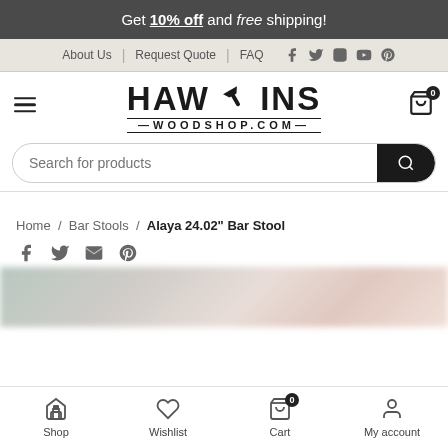Get 10% off and free shipping!
About Us | Request Quote | FAQ
[Figure (logo): Hawkins Woodshop.com logo with hammer icon]
Search for products
Home / Bar Stools / Alaya 24.02" Bar Stool
[Figure (photo): Blurred product photo of bar stools]
Shop   Wishlist   Cart   My account